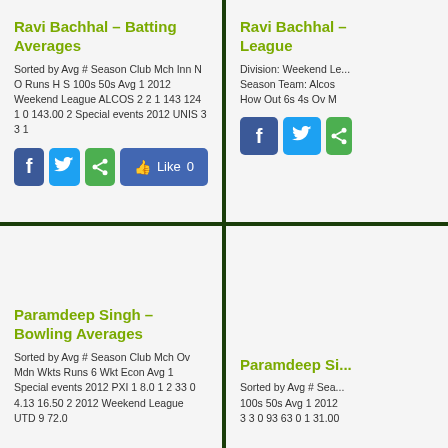Ravi Bachhal – Batting Averages
Sorted by Avg # Season Club Mch Inn N O Runs H S 100s 50s Avg 1 2012 Weekend League ALCOS 2 2 1 143 124 1 0 143.00 2 Special events 2012 UNIS 3 3 1
Ravi Bachhal – League
Division: Weekend Le... Season Team: Alcos How Out 6s 4s Ov M
Paramdeep Singh – Bowling Averages
Sorted by Avg # Season Club Mch Ov Mdn Wkts Runs 6 Wkt Econ Avg 1 Special events 2012 PXI 1 8.0 1 2 33 0 4.13 16.50 2 2012 Weekend League UTD 9 72.0
Paramdeep Si...
Sorted by Avg # Sea... 100s 50s Avg 1 2012 3 3 0 93 63 0 1 31.00